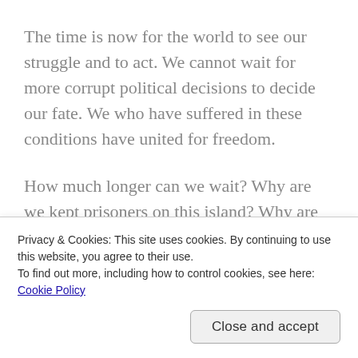The time is now for the world to see our struggle and to act. We cannot wait for more corrupt political decisions to decide our fate. We who have suffered in these conditions have united for freedom.
How much longer can we wait? Why are we kept prisoners on this island? Why are our voices being silenced? Whe are we being traded between Turkey and the Eu like slaves or cattle? Unity and numbers give us power! Our freedom has been taken, united we will take it back!
Privacy & Cookies: This site uses cookies. By continuing to use this website, you agree to their use.
To find out more, including how to control cookies, see here: Cookie Policy
Close and accept
the island has been erected and we have been